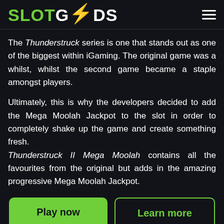SLOTGODS
The Thunderstruck series is one that stands out as one of the biggest within iGaming. The original game was a whilst, whilst the second game became a staple amongst players.
Ultimately, this is why the developers decided to add the Mega Moolah Jackpot to the slot in order to completely shake up the game and create something fresh. Thunderstruck II Mega Moolah contains all the favourites from the original but adds in the amazing progressive Mega Moolah Jackpot.
Play now
Learn more
Slot information